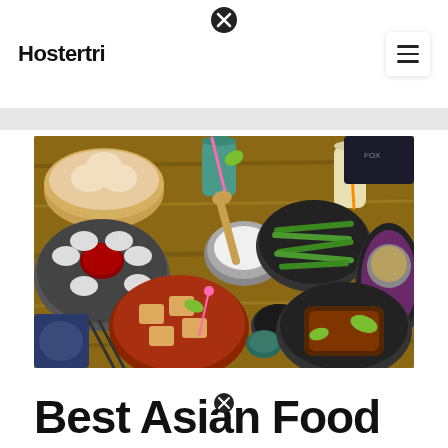Hostertri
[Figure (photo): Overhead view of a wooden table with various Asian food dishes including dim sum, dumplings, green beans, a rice bowl with garnishes, a spicy tofu dish, a glazed meat dish, and drinks with colorful straws.]
Best Asian Food